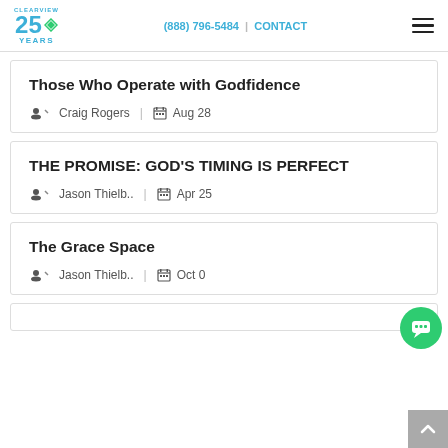CLEARVIEW 25 YEARS | (888) 796-5484 | CONTACT
Those Who Operate with Godfidence
Craig Rogers | Aug 28
THE PROMISE: GOD'S TIMING IS PERFECT
Jason Thielb.. | Apr 25
The Grace Space
Jason Thielb.. | Oct 0…